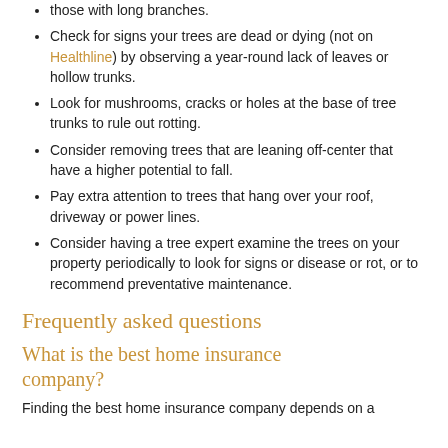those with long branches.
Check for signs your trees are dead or dying (not on Healthline) by observing a year-round lack of leaves or hollow trunks.
Look for mushrooms, cracks or holes at the base of tree trunks to rule out rotting.
Consider removing trees that are leaning off-center that have a higher potential to fall.
Pay extra attention to trees that hang over your roof, driveway or power lines.
Consider having a tree expert examine the trees on your property periodically to look for signs or disease or rot, or to recommend preventative maintenance.
Frequently asked questions
What is the best home insurance company?
Finding the best home insurance company depends on a